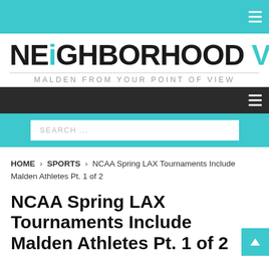[Figure (logo): Neighborhood View logo with teal top bar and hamburger menu icon]
NEIGHBORHOOD VIEW
MALDEN FROM YOUR POINT OF VIEW
Dark navigation bar with hamburger menu
SEARCH ...
HOME > SPORTS > NCAA Spring LAX Tournaments Include Malden Athletes Pt. 1 of 2
NCAA Spring LAX Tournaments Include Malden Athletes Pt. 1 of 2